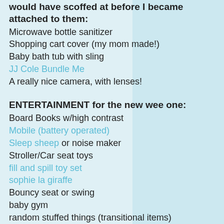would have scoffed at before I became attached to them:
Microwave bottle sanitizer
Shopping cart cover (my mom made!)
Baby bath tub with sling
JJ Cole Bundle Me
A really nice camera, with lenses!
ENTERTAINMENT for the new wee one:
Board Books w/high contrast
Mobile (battery operated)
Sleep sheep or noise maker
Stroller/Car seat toys
fill and spill toy set
sophie la giraffe
Bouncy seat or swing
baby gym
random stuffed things (transitional items)
Instill a love of reading and start rituals by having some newborn baby books. We read fox in sox to the belly and its still one of his favorites. A reading ritual after bath/massage